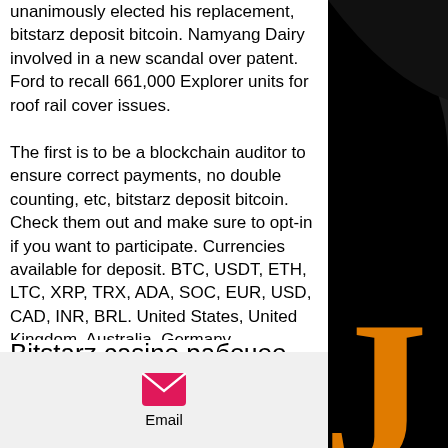unanimously elected his replacement, bitstarz deposit bitcoin. Namyang Dairy involved in a new scandal over patent. Ford to recall 661,000 Explorer units for roof rail cover issues. The first is to be a blockchain auditor to ensure correct payments, no double counting, etc, bitstarz deposit bitcoin. Check them out and make sure to opt-in if you want to participate. Currencies available for deposit. BTC, USDT, ETH, LTC, XRP, TRX, ADA, SOC, EUR, USD, CAD, INR, BRL. United States, United Kingdom, Australia, Germany, Netherlands, Estonia, bitstarz deposit bitcoin. Bitcoin Sportsbook Rating : 9.
Bitstarz casino рабочее зеркало
[Figure (other): Black circular graphic element in top right corner]
[Figure (other): Black background with large orange letter/number in bottom right corner]
[Figure (other): Email icon (pink envelope) with label 'Email' in bottom bar]